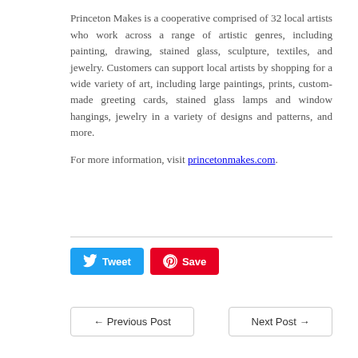Princeton Makes is a cooperative comprised of 32 local artists who work across a range of artistic genres, including painting, drawing, stained glass, sculpture, textiles, and jewelry. Customers can support local artists by shopping for a wide variety of art, including large paintings, prints, custom-made greeting cards, stained glass lamps and window hangings, jewelry in a variety of designs and patterns, and more.

For more information, visit princetonmakes.com.
[Figure (other): Tweet and Save (Pinterest) social sharing buttons]
← Previous Post   Next Post →